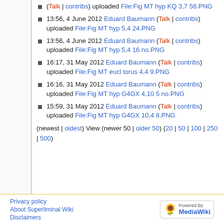(Talk | contribs) uploaded File:Fig MT hyp KQ 3,7 56.PNG
13:56, 4 June 2012 Eduard Baumann (Talk | contribs) uploaded File:Fig MT hyp 5,4 24.PNG
13:56, 4 June 2012 Eduard Baumann (Talk | contribs) uploaded File:Fig MT hyp 5,4 16 no.PNG
16:17, 31 May 2012 Eduard Baumann (Talk | contribs) uploaded File:Fig MT eucl torus 4,4 9.PNG
16:16, 31 May 2012 Eduard Baumann (Talk | contribs) uploaded File:Fig MT hyp G4GX 4,10 5 no.PNG
15:59, 31 May 2012 Eduard Baumann (Talk | contribs) uploaded File:Fig MT hyp G4GX 10,4 8.PNG
(newest | oldest) View (newer 50 | older 50) (20 | 50 | 100 | 250 | 500)
Privacy policy   About Superliminal Wiki   Disclaimers   Powered by MediaWiki